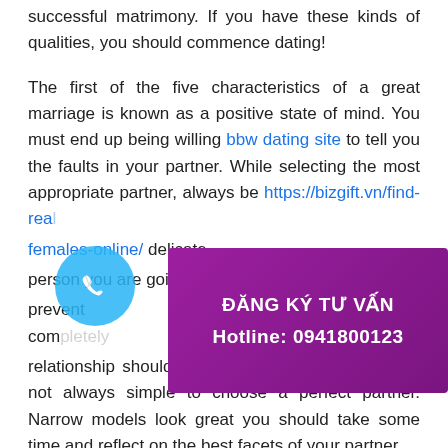successful matrimony. If you have these kinds of qualities, you should commence dating!

The first of the five characteristics of a great marriage is known as a positive state of mind. You must end up being willing bbw dating site to tell you the faults in your partner. While selecting the most appropriate partner, always be https://bizgift.vn/find-real-[...]-females-online/ delicate [...] person you are going [...] prevent tiny issues com[...] relationship should be f[...] always simple to choose a perfect partner. Narrow models look great you should take some time and reflect on the best facets of your partner.

Love [...] central quality in a good marriage. Though [...] is not the only one, it is the most significant. If yo[...] love your partner, it can be unlikely that you will w[...] various other qualities. Therefore, it is importa[nt to]
[Figure (infographic): Purple overlay popup box with Vietnamese text 'ĐĂNG KÝ TƯ VẤN' and 'Hotline: 0941800123' in white bold text on purple/magenta background.]
[Figure (illustration): Light blue circular phone icon with white telephone handset graphic, partially overlapping text.]
[Figure (illustration): Red circular arrow-up button in bottom right corner.]
[Figure (illustration): Google reCAPTCHA badge widget in bottom right corner showing reCAPTCHA logo with 'Privacy - Terms' text.]